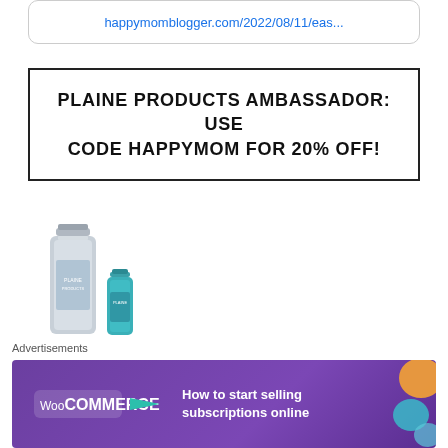happymomblogger.com/2022/08/11/eas...
PLAINE PRODUCTS AMBASSADOR: USE CODE HAPPYMOM FOR 20% OFF!
[Figure (photo): Two Plaine Products bottles — one tall silver aluminum bottle and one small teal/blue bottle]
Reduce the use
[Figure (screenshot): WooCommerce advertisement banner: 'How to start selling subscriptions online']